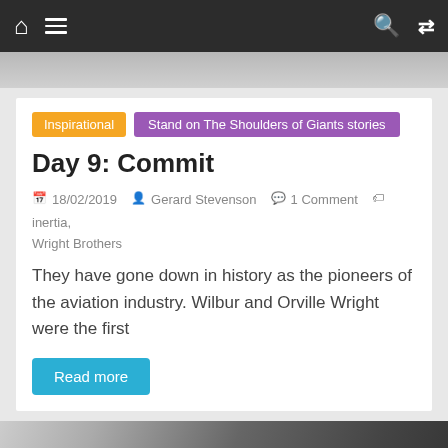Navigation bar with home, menu, search, shuffle icons
[Figure (photo): Grayscale top image strip, partial photo]
Inspirational | Stand on The Shoulders of Giants stories
Day 9: Commit
18/02/2019  Gerard Stevenson  1 Comment  inertia, Wright Brothers
They have gone down in history as the pioneers of the aviation industry. Wilbur and Orville Wright were the first
Read more
[Figure (photo): Grayscale historical portrait photo, man in 18th century clothing]